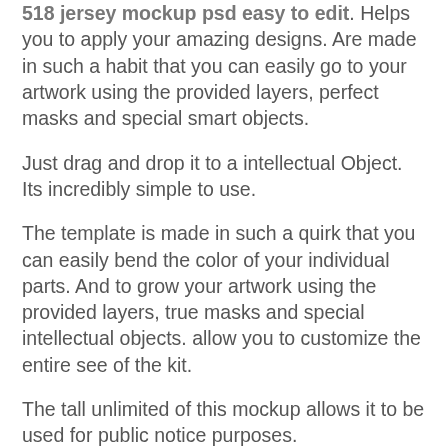518 jersey mockup psd easy to edit. Helps you to apply your amazing designs. Are made in such a habit that you can easily go to your artwork using the provided layers, perfect masks and special smart objects.
Just drag and drop it to a intellectual Object. Its incredibly simple to use.
The template is made in such a quirk that you can easily bend the color of your individual parts. And to grow your artwork using the provided layers, true masks and special intellectual objects. allow you to customize the entire see of the kit.
The tall unlimited of this mockup allows it to be used for public notice purposes.
Replace invaluable mature and costly photosessions as soon as this mock-up to acquire what you craving in minutes.
Highly detailed and incredibly simple to use. available for professional poster and also freelance or even personal presentations.
View the 518 jersey mockup psd easy to edit screenshots for more details. Enjoy the outstanding quality!